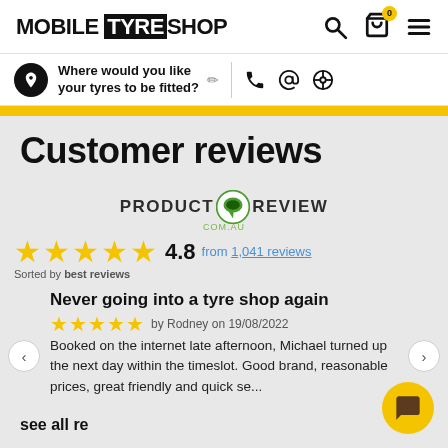[Figure (logo): Mobile Tyre Shop logo with search, cart, and menu icons in header]
Where would you like your tyres to be fitted?
Customer reviews
[Figure (logo): ProductReview.com.au logo with speech bubble icon]
4.8 from 1,041 reviews
Sorted by best reviews
Never going into a tyre shop again
by Rodney on 19/08/2022
Booked on the internet late afternoon, Michael turned up the next day within the timeslot. Good brand, reasonable prices, great friendly and quick se...
see all re